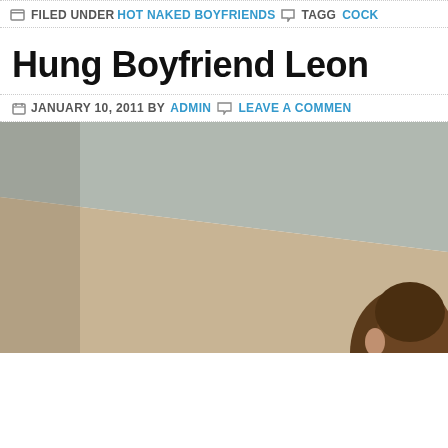FILED UNDER HOT NAKED BOYFRIENDS TAGG... COCK
Hung Boyfriend Leon
JANUARY 10, 2011 BY ADMIN LEAVE A COMMENT
[Figure (photo): Partial photo showing beige/tan wall background with the top of a person's head visible in the lower right corner]